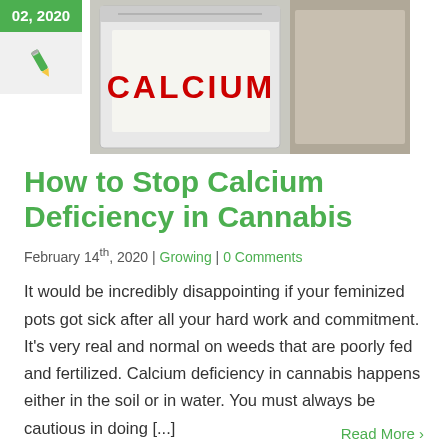[Figure (photo): Date box showing '02, 2020' on green background, pencil icon below, and a photo of a notebook page with 'CALCIUM' written in red letters on a wooden background]
How to Stop Calcium Deficiency in Cannabis
February 14th, 2020 | Growing | 0 Comments
It would be incredibly disappointing if your feminized pots got sick after all your hard work and commitment. It's very real and normal on weeds that are poorly fed and fertilized. Calcium deficiency in cannabis happens either in the soil or in water. You must always be cautious in doing [...]
Read More >